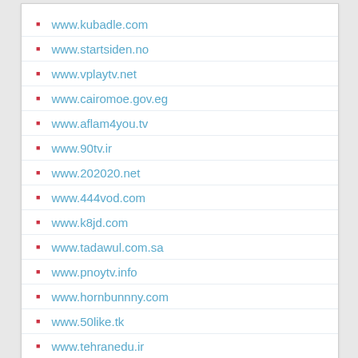www.kubadle.com
www.startsiden.no
www.vplaytv.net
www.cairomoe.gov.eg
www.aflam4you.tv
www.90tv.ir
www.202020.net
www.444vod.com
www.k8jd.com
www.tadawul.com.sa
www.pnoytv.info
www.hornbunnny.com
www.50like.tk
www.tehranedu.ir
www.uitzendinggemist.nl
www.rsl.sk
www.rsl1308.tumblr.com